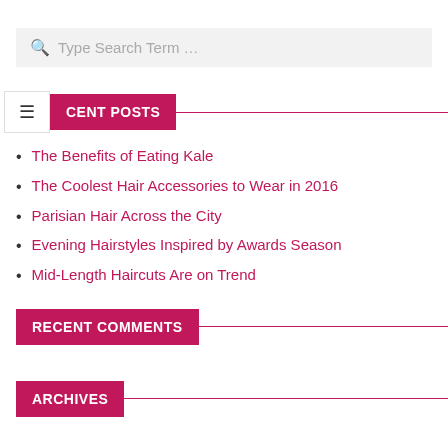Type Search Term …
RECENT POSTS
The Benefits of Eating Kale
The Coolest Hair Accessories to Wear in 2016
Parisian Hair Across the City
Evening Hairstyles Inspired by Awards Season
Mid-Length Haircuts Are on Trend
RECENT COMMENTS
ARCHIVES